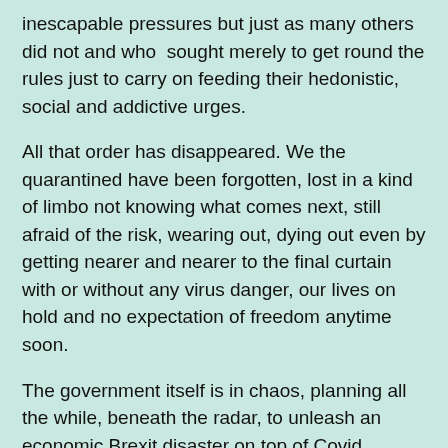inescapable pressures but just as many others did not and who sought merely to get round the rules just to carry on feeding their hedonistic, social and addictive urges.
All that order has disappeared. We the quarantined have been forgotten, lost in a kind of limbo not knowing what comes next, still afraid of the risk, wearing out, dying out even by getting nearer and nearer to the final curtain with or without any virus danger, our lives on hold and no expectation of freedom anytime soon.
The government itself is in chaos, planning all the while, beneath the radar, to unleash an economic Brexit disaster on top of Covid, robbing us of our income from savings, destroying our pensions and in parallel planning for, probably purposely engineering a second wave which now seems to be the harsh and unsettling future and ever greater disorder.
All the time I am hearing people in similar circumstances asking “what is next for us?” , “what about those who are shielding?” “has anyone heard anything?” and the truth is we are locked down, out of the way, out of sight and out of mind